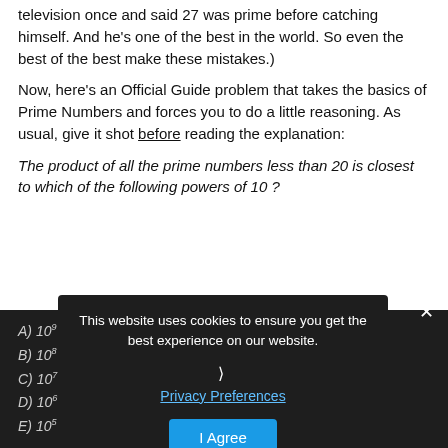television once and said 27 was prime before catching himself. And he's one of the best in the world. So even the best of the best make these mistakes.)
Now, here's an Official Guide problem that takes the basics of Prime Numbers and forces you to do a little reasoning. As usual, give it shot before reading the explanation:
The product of all the prime numbers less than 20 is closest to which of the following powers of 10?
A) 10^9
B) 10^8
C) 10^7
D) 10^6
E) 10^5
Explanation
For this one, you have a little hint going in, as we've provided you
This website uses cookies to ensure you get the best experience on our website.
Privacy Preferences
I Agree